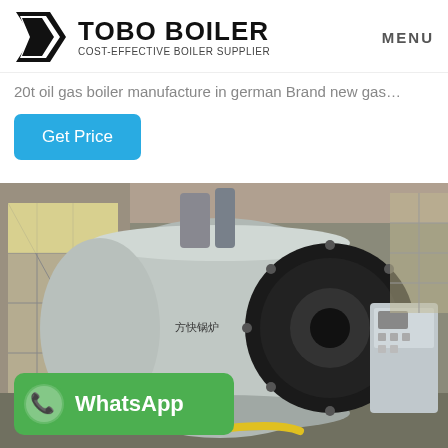TOBO BOILER — COST-EFFECTIVE BOILER SUPPLIER | MENU
20t oil gas boiler manufacture in german Brand new gas…
Get Price
[Figure (photo): Large industrial oil/gas boiler in a factory/warehouse setting. The boiler is cylindrical with silver cladding and a large black circular front burner housing. A control panel cabinet is visible to the right. A WhatsApp contact badge appears in the lower-left corner of the image.]